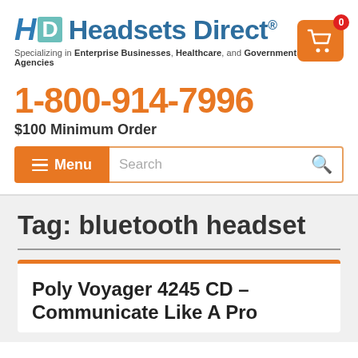[Figure (logo): Headsets Direct logo with HD icon and teal/blue branding, plus shopping cart icon with badge showing 0]
Specializing in Enterprise Businesses, Healthcare, and Government Agencies
1-800-914-7996
$100 Minimum Order
Menu
Search
Tag: bluetooth headset
Poly Voyager 4245 CD – Communicate Like A Pro